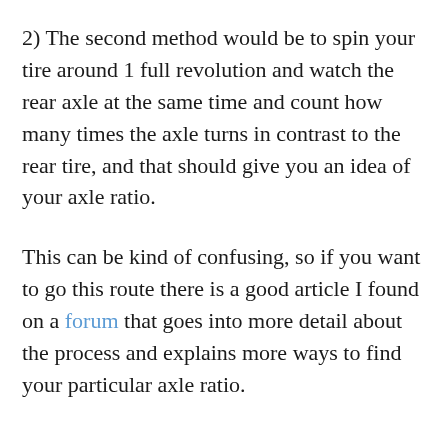2) The second method would be to spin your tire around 1 full revolution and watch the rear axle at the same time and count how many times the axle turns in contrast to the rear tire, and that should give you an idea of your axle ratio.
This can be kind of confusing, so if you want to go this route there is a good article I found on a forum that goes into more detail about the process and explains more ways to find your particular axle ratio.